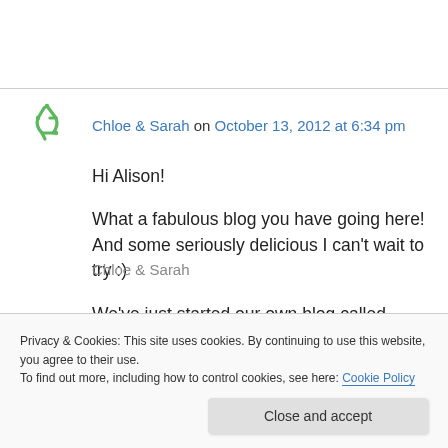[Figure (logo): Green circular arrow recycling-style icon avatar for Chloe & Sarah]
Chloe & Sarah on October 13, 2012 at 6:34 pm
Hi Alison!
What a fabulous blog you have going here! And some seriously delicious I can’t wait to try :)
We’ve just started our own blog called Honey & Lulu and we were just wondering whether you would be interested in following us and we will
Chloe & Sarah
Privacy & Cookies: This site uses cookies. By continuing to use this website, you agree to their use.
To find out more, including how to control cookies, see here: Cookie Policy
Close and accept